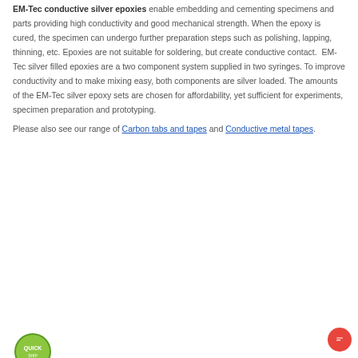EM-Tec conductive silver epoxies enable embedding and cementing specimens and parts providing high conductivity and good mechanical strength. When the epoxy is cured, the specimen can undergo further preparation steps such as polishing, lapping, thinning, etc. Epoxies are not suitable for soldering, but create conductive contact.  EM-Tec silver filled epoxies are a two component system supplied in two syringes. To improve conductivity and to make mixing easy, both components are silver loaded. The amounts of the EM-Tec silver epoxy sets are chosen for affordability, yet sufficient for experiments, specimen preparation and prototyping.
Please also see our range of Carbon tabs and tapes and Conductive metal tapes.
[Figure (logo): Quick logo - green circular badge with 'QUICK' text]